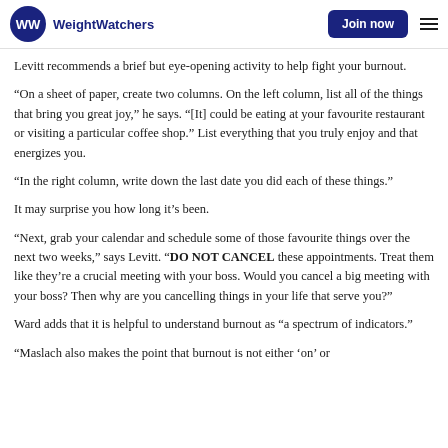WeightWatchers | Join now
Levitt recommends a brief but eye-opening activity to help fight your burnout.
“On a sheet of paper, create two columns. On the left column, list all of the things that bring you great joy,” he says. “[It] could be eating at your favourite restaurant or visiting a particular coffee shop.” List everything that you truly enjoy and that energizes you.
“In the right column, write down the last date you did each of these things.”
It may surprise you how long it’s been.
“Next, grab your calendar and schedule some of those favourite things over the next two weeks,” says Levitt. “DO NOT CANCEL these appointments. Treat them like they’re a crucial meeting with your boss. Would you cancel a big meeting with your boss? Then why are you cancelling things in your life that serve you?”
Ward adds that it is helpful to understand burnout as “a spectrum of indicators.”
“Maslach also makes the point that burnout is not either ‘on’ or…